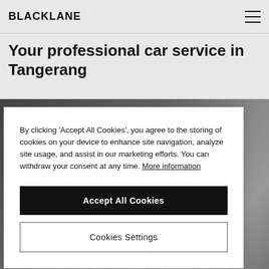BLACKLANE
Your professional car service in Tangerang
[Figure (photo): Black and white photo of a car, used as background image on the Blacklane service page for Tangerang]
By clicking 'Accept All Cookies', you agree to the storing of cookies on your device to enhance site navigation, analyze site usage, and assist in our marketing efforts. You can withdraw your consent at any time. More information
Accept All Cookies
Cookies Settings